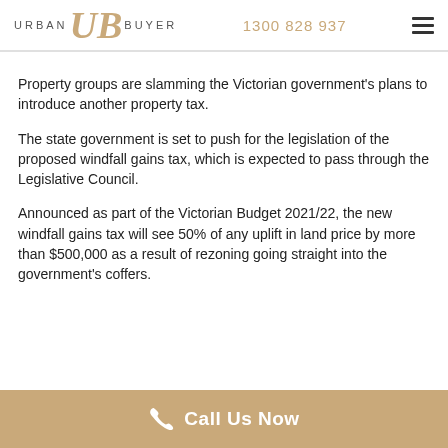URBAN UB BUYER  1300 828 937
Property groups are slamming the Victorian government's plans to introduce another property tax.
The state government is set to push for the legislation of the proposed windfall gains tax, which is expected to pass through the Legislative Council.
Announced as part of the Victorian Budget 2021/22, the new windfall gains tax will see 50% of any uplift in land price by more than $500,000 as a result of rezoning going straight into the government's coffers.
Call Us Now